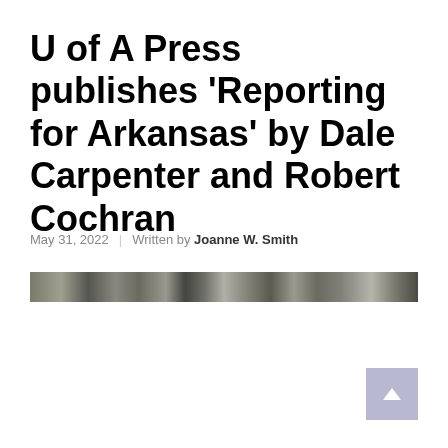U of A Press publishes 'Reporting for Arkansas' by Dale Carpenter and Robert Cochran
May 31, 2022 | Written by Joanne W. Smith
[Figure (photo): A narrow horizontal strip photograph, partially visible, appearing to show an outdoor or landscape scene in black and white/grayscale tones.]